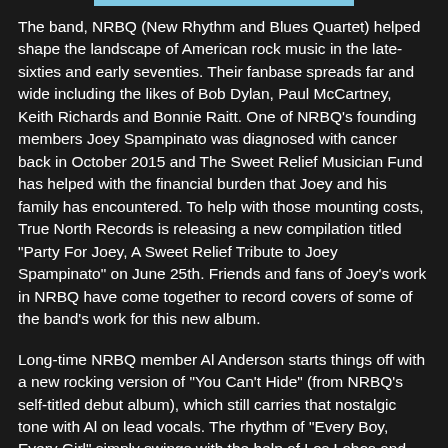The band, NRBQ (New Rhythm and Blues Quartet) helped shape the landscape of American rock music in the late-sixties and early seventies. Their fanbase spreads far and wide including the likes of Bob Dylan, Paul McCartney, Keith Richards and Bonnie Raitt. One of NRBQ's founding members Joey Spampinato was diagnosed with cancer back in October 2015 and The Sweet Relief Musician Fund has helped with the financial burden that Joey and his family has encountered. To help with those mounting costs, True North Records is releasing a new compilation titled "Party For Joey, A Sweet Relief Tribute to Joey Spampinato" on June 25th. Friends and fans of Joey's work in NRBQ have come together to record covers of some of the band's work for this new album.
Long-time NRBQ member Al Anderson starts things off with a new rocking version of "You Can't Hide" (from NRBQ's self-titled debut album), which still carries that nostalgic tone with Al on lead vocals. The rhythm of "Every Boy, Every Girl" simply swings with the help of Los Lobos and Deer Tick deliver a smooth Americana-style to "That I Get Back Home." The blues of "Like A Locomotive" glows bright with the line-up of Ben Harper, Keith